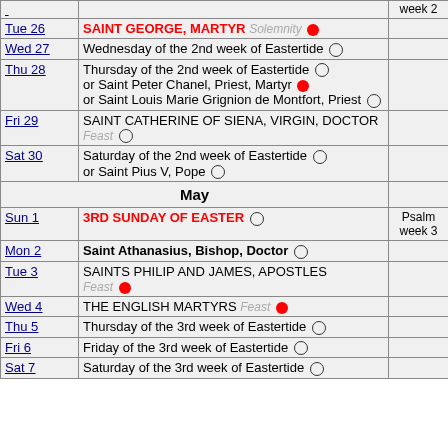| Day | Observance | Psalm |
| --- | --- | --- |
|  |  | week 2 |
| Tue 26 | SAINT GEORGE, MARTYR Solemnity ● |  |
| Wed 27 | Wednesday of the 2nd week of Eastertide ○ |  |
| Thu 28 | Thursday of the 2nd week of Eastertide ○ or Saint Peter Chanel, Priest, Martyr ● or Saint Louis Marie Grignion de Montfort, Priest ○ |  |
| Fri 29 | SAINT CATHERINE OF SIENA, VIRGIN, DOCTOR Feast ○ |  |
| Sat 30 | Saturday of the 2nd week of Eastertide ○ or Saint Pius V, Pope ○ |  |
| May |  |  |
| Sun 1 | 3RD SUNDAY OF EASTER ○ | Psalm week 3 |
| Mon 2 | Saint Athanasius, Bishop, Doctor ○ |  |
| Tue 3 | SAINTS PHILIP AND JAMES, APOSTLES Feast ● |  |
| Wed 4 | THE ENGLISH MARTYRS Feast ● |  |
| Thu 5 | Thursday of the 3rd week of Eastertide ○ |  |
| Fri 6 | Friday of the 3rd week of Eastertide ○ |  |
| Sat 7 | Saturday of the 3rd week of Eastertide ○ |  |